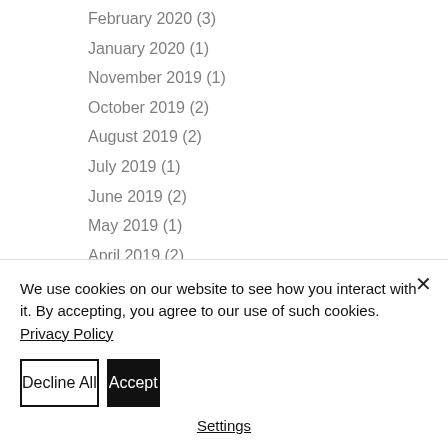February 2020 (3)
January 2020 (1)
November 2019 (1)
October 2019 (2)
August 2019 (2)
July 2019 (1)
June 2019 (2)
May 2019 (1)
April 2019 (2)
March 2019 (7)
February 2019 (1)
January 2019 (1)
December 2018 (2)
We use cookies on our website to see how you interact with it. By accepting, you agree to our use of such cookies. Privacy Policy
Decline All
Accept
Settings